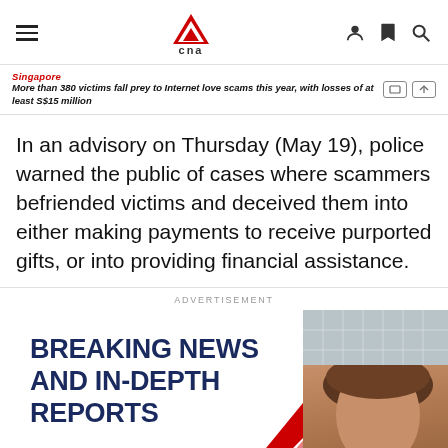CNA (Channel NewsAsia) website header with hamburger menu, CNA logo, and icons for user account, bookmark, and search
Singapore
More than 380 victims fall prey to Internet love scams this year, with losses of at least S$15 million
In an advisory on Thursday (May 19), police warned the public of cases where scammers befriended victims and deceived them into either making payments to receive purported gifts, or into providing financial assistance.
ADVERTISEMENT
[Figure (illustration): CNA advertisement banner showing bold text 'BREAKING NEWS AND IN-DEPTH REPORTS' in dark navy/blue on white background, with a red diagonal graphic element and a photo of a female news anchor on the right side with a building in the background]